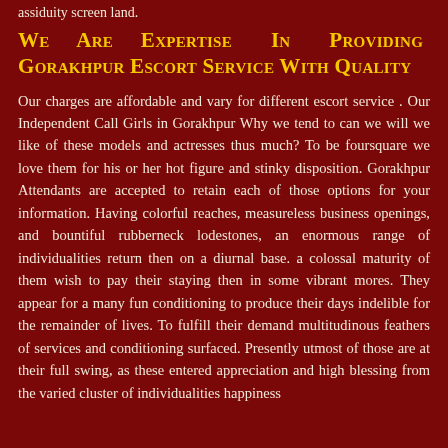assiduity screen land.
We Are Expertise In Providing Gorakhpur Escort Service With Quality
Our charges are affordable and vary for different escort service . Our Independent Call Girls in Gorakhpur Why we tend to can we will we like of these models and actresses thus much? To be foursquare we love them for his or her hot figure and stinky disposition. Gorakhpur Attendants are accepted to retain each of those options for your information. Having colorful reaches, measureless business openings, and bountiful rubberneck lodestones, an enormous range of individualities return then on a diurnal base. a colossal maturity of them wish to pay their staying then in some vibrant mores. They appear for a many fun conditioning to produce their days indelible for the remainder of lives. To fulfill their demand multitudinous feathers of services and conditioning surfaced. Presently utmost of those are at their full swing, as these entered appreciation and high blessing from the varied cluster of individualities happiness